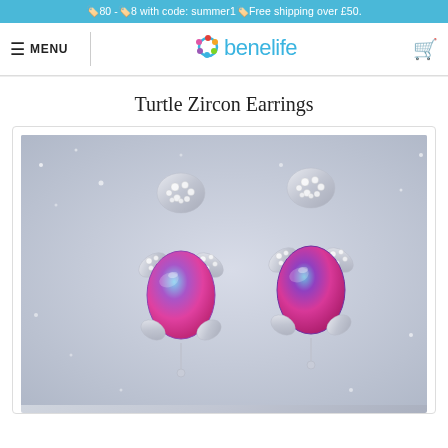🏷️80 -🏷️8 with code: summer1🏷️Free shipping over £50.
[Figure (screenshot): Benelife e-commerce website navigation bar with hamburger menu, MENU text, Benelife logo (blue circular design with colorful dots), and shopping cart icon]
Turtle Zircon Earrings
[Figure (photo): Two silver turtle-shaped stud earrings with oval rainbow/mystic topaz gemstones in the center (pink-blue gradient), diamond crystal accents on the head and fins, placed on a sparkly silver glitter background]